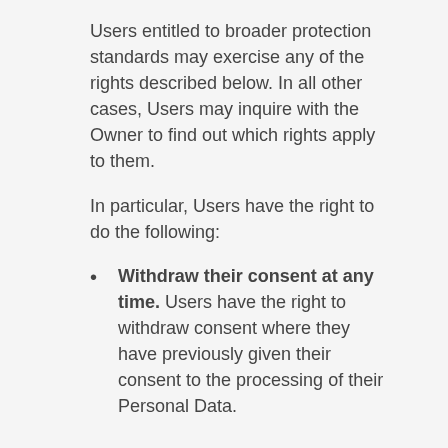Users entitled to broader protection standards may exercise any of the rights described below. In all other cases, Users may inquire with the Owner to find out which rights apply to them.
In particular, Users have the right to do the following:
Withdraw their consent at any time. Users have the right to withdraw consent where they have previously given their consent to the processing of their Personal Data.